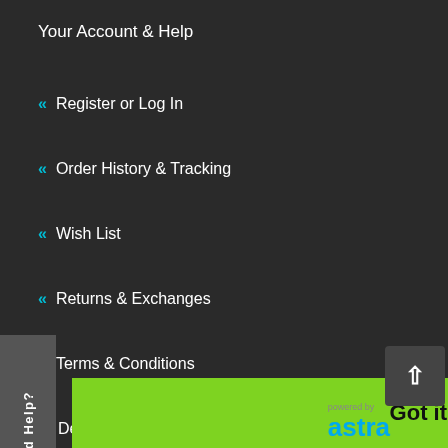Your Account & Help
« Register or Log In
« Order History & Tracking
« Wish List
« Returns & Exchanges
« Terms & Conditions
Delivery & Shipping
Need Help?
We use cookies to provide the best possible shopping experience. Don't want them? Call in your order US Toll Free 877-822-3318.
Learn more
Got it!
powered by astra
1773,